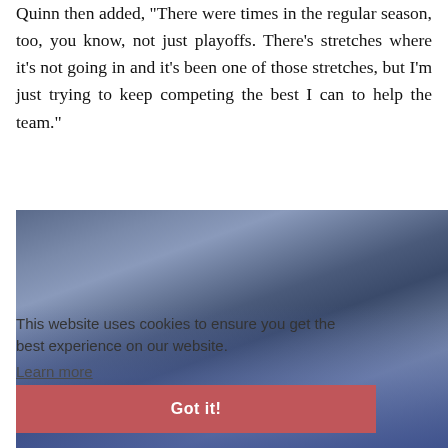Quinn then added, "There were times in the regular season, too, you know, not just playoffs. There's stretches where it's not going in and it's been one of those stretches, but I'm just trying to keep competing the best I can to help the team."
[Figure (photo): Hockey players in blue USA jerseys on the ice, with crowd in the background]
This website uses cookies to ensure you get the best experience on our website. Learn more
Got it!